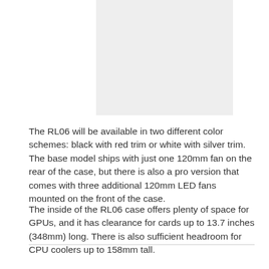[Figure (photo): Gray placeholder image representing a product photo of the RL06 case]
The RL06 will be available in two different color schemes: black with red trim or white with silver trim. The base model ships with just one 120mm fan on the rear of the case, but there is also a pro version that comes with three additional 120mm LED fans mounted on the front of the case.
The inside of the RL06 case offers plenty of space for GPUs, and it has clearance for cards up to 13.7 inches (348mm) long. There is also sufficient headroom for CPU coolers up to 158mm tall.